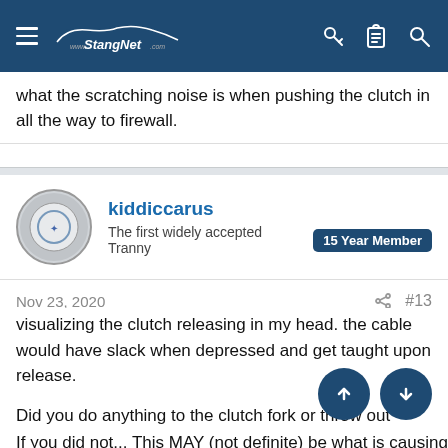www.StangNet.com
what the scratching noise is when pushing the clutch in all the way to firewall.
kiddiccarus
The first widely accepted Tranny | 15 Year Member
Nov 23, 2020  #13
visualizing the clutch releasing in my head. the cable would have slack when depressed and get taught upon release.

Did you do anything to the clutch fork or throw out bearing?

If you did, did you remember to grease the input shaft so that bearing and fork will move freely.
If you did, did you make sure that the bearing is installed correctly on the shaft.

If you did not... This MAY (not definite) be what is causing the